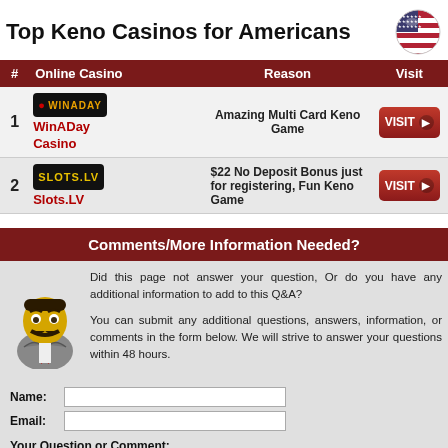Top Keno Casinos for Americans
| # | Online Casino | Reason | Visit |
| --- | --- | --- | --- |
| 1 | WinADay Casino | Amazing Multi Card Keno Game | VISIT |
| 2 | Slots.LV | $22 No Deposit Bonus just for registering, Fun Keno Game | VISIT |
Comments/More Information Needed?
Did this page not answer your question, Or do you have any additional information to add to this Q&A?
You can submit any additional questions, answers, information, or comments in the form below. We will strive to answer your questions within 48 hours.
Name:
Email:
Your Question or Comment: